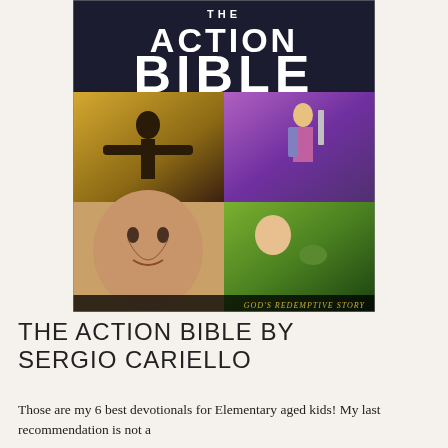[Figure (photo): Book cover of 'The Action Bible' by Sergio Cariello, showing comic-book style illustrations of biblical scenes with the title text 'THE ACTION BIBLE' in large letters and subtitle 'GOD'S REDEMPTIVE STORY' at the bottom.]
THE ACTION BIBLE BY SERGIO CARIELLO
Those are my 6 best devotionals for Elementary aged kids! My last recommendation is not a